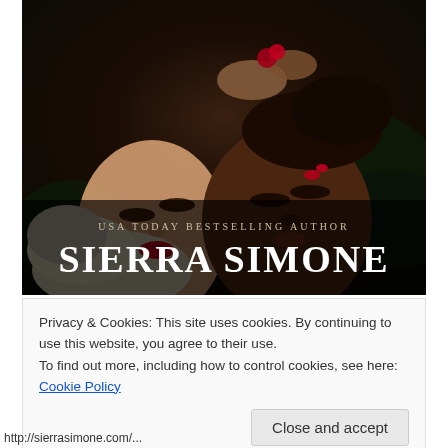[Figure (photo): Book cover for a novel by USA Today Bestselling Author Sierra Simone. Shows two people (one with blonde/white hair, red lipstick; one with dark skin) lying close together among dark floral/leaf backgrounds. Author name in large white serif text at bottom over dark overlay.]
Privacy & Cookies: This site uses cookies. By continuing to use this website, you agree to their use.
To find out more, including how to control cookies, see here: Cookie Policy
Close and accept
http://sierrasimone.com/...